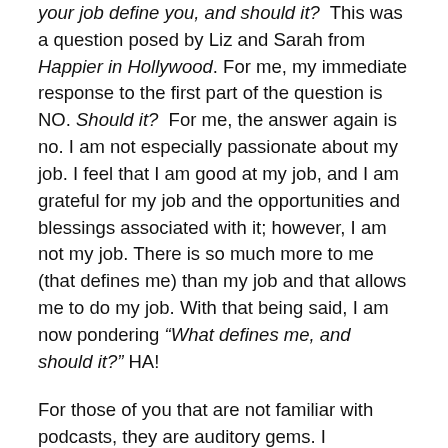your job define you, and should it? This was a question posed by Liz and Sarah from Happier in Hollywood. For me, my immediate response to the first part of the question is NO. Should it? For me, the answer again is no. I am not especially passionate about my job. I feel that I am good at my job, and I am grateful for my job and the opportunities and blessings associated with it; however, I am not my job. There is so much more to me (that defines me) than my job and that allows me to do my job. With that being said, I am now pondering “What defines me, and should it?” HA!
For those of you that are not familiar with podcasts, they are auditory gems. I absolutely LOVE them. Podcasts are easily accessible, and you can listen to them through your phone, iPad, or laptop. I listen to several podcasts on my phone while walking, driving, and completing chores. Not